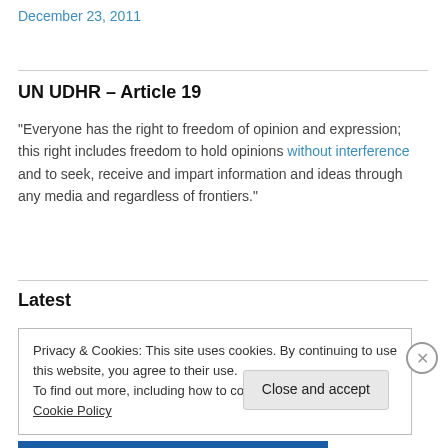December 23, 2011
UN UDHR – Article 19
"Everyone has the right to freedom of opinion and expression; this right includes freedom to hold opinions without interference and to seek, receive and impart information and ideas through any media and regardless of frontiers."
Latest
Privacy & Cookies: This site uses cookies. By continuing to use this website, you agree to their use.
To find out more, including how to control cookies, see here: Cookie Policy